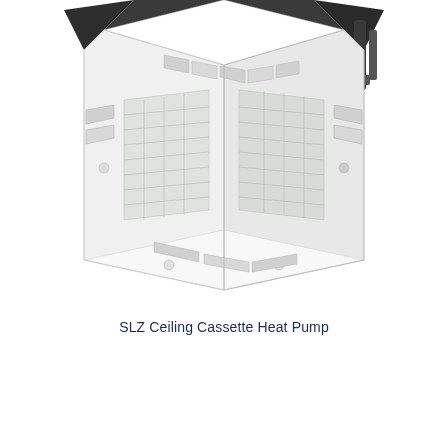[Figure (photo): Photograph of an SLZ Ceiling Cassette Heat Pump unit, shown installed in a ceiling, viewed from below and at a slight angle. The unit is white with four directional vents on the sides and a central filter grille. The top housing visible above the ceiling is dark grey/black.]
SLZ Ceiling Cassette Heat Pump